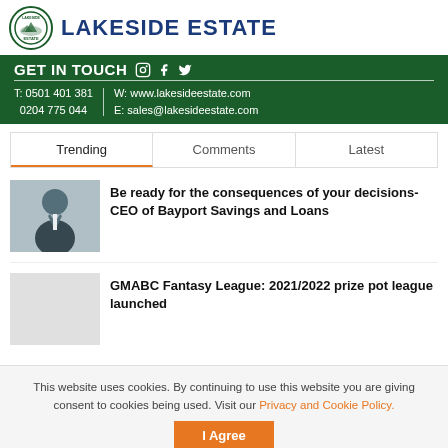LAKESIDE ESTATE
GET IN TOUCH  T: 0501 401 381  0204 775 044  W: www.lakesideestate.com  E: sales@lakesideestate.com
Trending | Comments | Latest
Be ready for the consequences of your decisions- CEO of Bayport Savings and Loans
GMABC Fantasy League: 2021/2022 prize pot league launched
This website uses cookies. By continuing to use this website you are giving consent to cookies being used. Visit our Privacy and Cookie Policy.